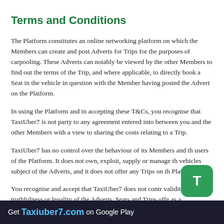Terms and Conditions
The Platform constitutes an online networking platform on which the Members can create and post Adverts for Trips for the purposes of carpooling. These Adverts can notably be viewed by the other Members to find out the terms of the Trip, and where applicable, to directly book a Seat in the vehicle in question with the Member having posted the Advert on the Platform.
In using the Platform and in accepting these T&Cs, you recognise that TaxiUber7 is not party to any agreement entered into between you and the other Members with a view to sharing the costs relating to a Trip.
TaxiUber7 has no control over the behaviour of its Members and the users of the Platform. It does not own, exploit, supply or manage the vehicles subject of the Adverts, and it does not offer any Trips on the Platform.
You recognise and accept that TaxiUber7 does not control the validity, truthfulness or legality of the Adverts, Seats and Trips offered. As a transportation intermediary, TaxiUber7 does not provide any transport service and does not act in the capacity of
Get Taxiuber7.com on Google Play